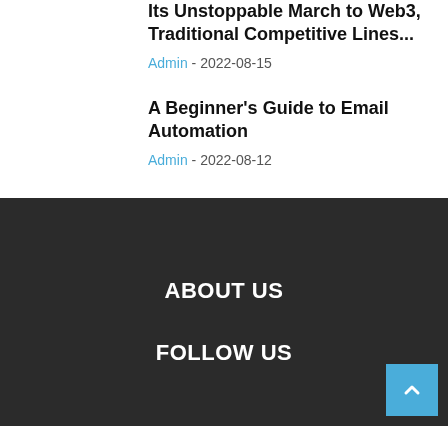Its Unstoppable March to Web3, Traditional Competitive Lines...
Admin - 2022-08-15
A Beginner's Guide to Email Automation
Admin - 2022-08-12
ABOUT US
FOLLOW US